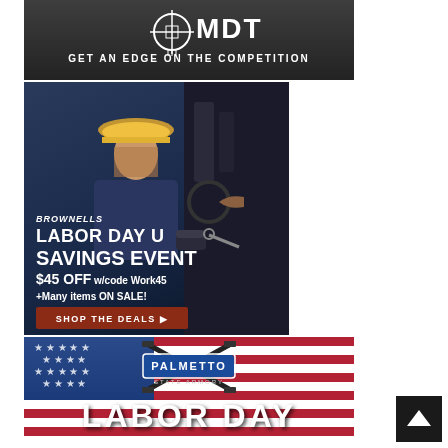[Figure (illustration): MDT advertisement banner with dark background showing logo and text 'GET AN EDGE ON THE COMPETITION']
[Figure (photo): Brownells Labor Day Savings Event advertisement showing a worker in yellow hard hat, with text: BROWNELLS, LABOR DAY ULTRA SAVINGS EVENT, $45 OFF w/code Work45, +Many items ON SALE!, SHOP THE DEALS button]
[Figure (illustration): Palmetto State Armory advertisement with American flag background showing crossed rifles logo, PALMETTO / STATE ARMORY badge, and LABOR DAY text]